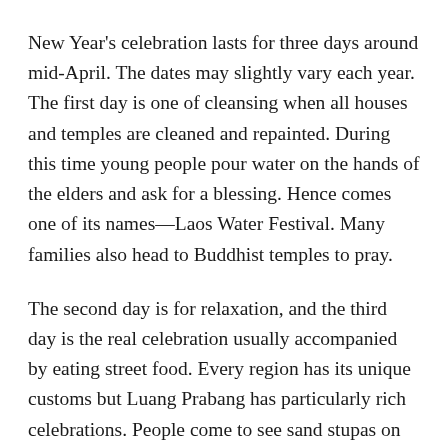New Year's celebration lasts for three days around mid-April. The dates may slightly vary each year. The first day is one of cleansing when all houses and temples are cleaned and repainted. During this time young people pour water on the hands of the elders and ask for a blessing. Hence comes one of its names—Laos Water Festival. Many families also head to Buddhist temples to pray.
The second day is for relaxation, and the third day is the real celebration usually accompanied by eating street food. Every region has its unique customs but Luang Prabang has particularly rich celebrations. People come to see sand stupas on the banks of the Mekong river, the Prabang procession, beauty contests, and authentic music and dance concerts. Another popular location to experience this...